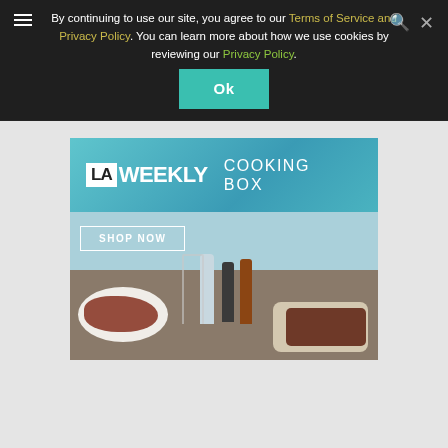By continuing to use our site, you agree to our Terms of Service and Privacy Policy. You can learn more about how we use cookies by reviewing our Privacy Policy.
[Figure (illustration): LA Weekly Cooking Box advertisement. Top teal banner with 'LA WEEKLY COOKING BOX' text in white. Bottom shows a styled food photograph with seafood dishes including crab and grilled octopus on plates, bottles, and a wine glass on a table. 'SHOP NOW' button overlaid on photo.]